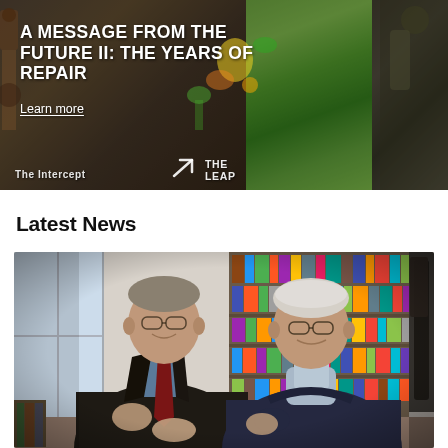[Figure (photo): Banner image showing a composite photo: rusty machinery on left, colorful illustrated mural of birds and bees in center, more rusty machinery on right. White bold text overlay reads 'A MESSAGE FROM THE FUTURE II: THE YEARS OF REPAIR' with a 'Learn more' link. The Intercept and The Leap logos visible at bottom.]
Latest News
[Figure (photo): Two elderly men in conversation in a library/home setting. Left man wears dark suit with red tie and light blue shirt with glasses. Right man wears navy blue sweater with light blue collar and glasses. They appear to be engaged in discussion, with bookshelves visible in the background.]